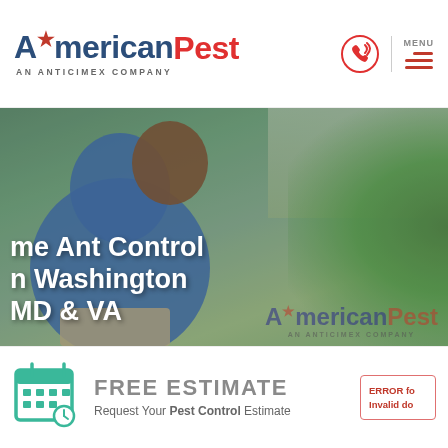AmericanPest AN ANTICIMEX COMPANY
[Figure (photo): Hero image showing a pest control technician in a blue uniform leaning forward inspecting a garden/shrub area near a building. The AmericanPest logo watermark overlays the bottom right of the image.]
me Ant Control n Washington MD & VA
FREE ESTIMATE Request Your Pest Control Estimate
ERROR fo Invalid do